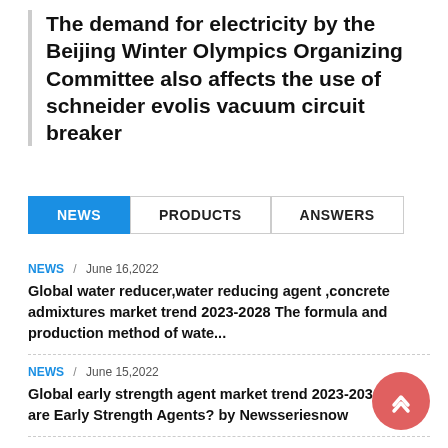The demand for electricity by the Beijing Winter Olympics Organizing Committee also affects the use of schneider evolis vacuum circuit breaker
NEWS   PRODUCTS   ANSWERS
NEWS / June 16,2022
Global water reducer,water reducing agent ,concrete admixtures market trend 2023-2028 The formula and production method of wate...
NEWS / June 15,2022
Global early strength agent market trend 2023-2030 What are Early Strength Agents? by Newsseriesnow
NEWS / June 14,2022
Global nano silica market trend 2025-2029 What is Nano Silica Used For? by Newsseriesnow